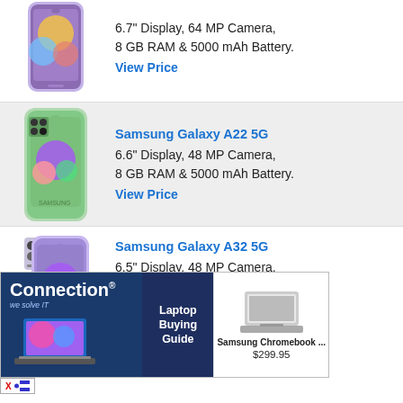[Figure (photo): Samsung Galaxy A-series phone in purple/lavender color (top partial card)]
6.7" Display, 64 MP Camera, 8 GB RAM & 5000 mAh Battery.
View Price
[Figure (photo): Samsung Galaxy A22 5G phone in green color]
Samsung Galaxy A22 5G
6.6" Display, 48 MP Camera, 8 GB RAM & 5000 mAh Battery.
View Price
[Figure (photo): Samsung Galaxy A32 5G phone in purple/lavender color]
Samsung Galaxy A32 5G
6.5" Display, 48 MP Camera, 8 GB RAM & 5000 mAh Battery.
View Price
[Figure (screenshot): Advertisement banner: Connection - Laptop Buying Guide, with Samsung Chromebook ... $299.95]